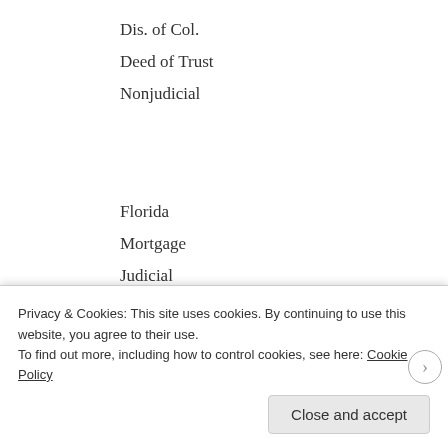Dis. of Col.
Deed of Trust
Nonjudicial
Florida
Mortgage
Judicial
Georgia
Security Deed
Privacy & Cookies: This site uses cookies. By continuing to use this website, you agree to their use. To find out more, including how to control cookies, see here: Cookie Policy